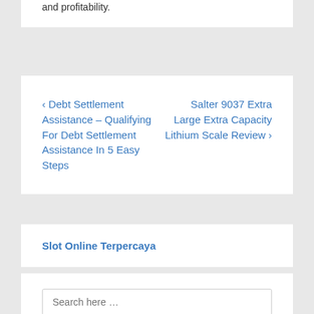and profitability.
‹ Debt Settlement Assistance – Qualifying For Debt Settlement Assistance In 5 Easy Steps   Salter 9037 Extra Large Extra Capacity Lithium Scale Review ›
Slot Online Terpercaya
Search here …